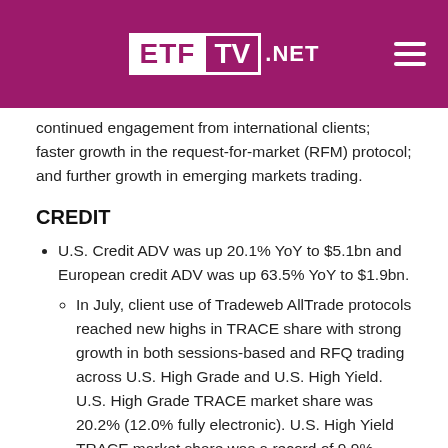ETF TV .NET
continued engagement from international clients; faster growth in the request-for-market (RFM) protocol; and further growth in emerging markets trading.
CREDIT
U.S. Credit ADV was up 20.1% YoY to $5.1bn and European credit ADV was up 63.5% YoY to $1.9bn.
In July, client use of Tradeweb AllTrade protocols reached new highs in TRACE share with strong growth in both sessions-based and RFQ trading across U.S. High Grade and U.S. High Yield. U.S. High Grade TRACE market share was 20.2% (12.0% fully electronic). U.S. High Yield TRACE market share was a record of 9.9% (6.4% fully